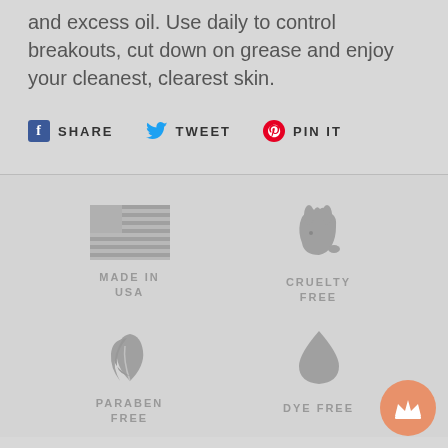and excess oil. Use daily to control breakouts, cut down on grease and enjoy your cleanest, clearest skin.
SHARE   TWEET   PIN IT
[Figure (infographic): Four product badges: Made in USA (flag icon), Cruelty Free (rabbit icon), Paraben Free (leaf icon), Dye Free (droplet icon)]
[Figure (other): Orange crown button in bottom right corner]